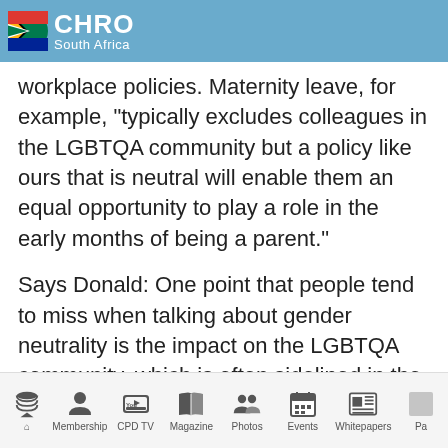CHRO South Africa
workplace policies. Maternity leave, for example, "typically excludes colleagues in the LGBTQA community but a policy like ours that is neutral will enable them an equal opportunity to play a role in the early months of being a parent."
Says Donald: One point that people tend to miss when talking about gender neutrality is the impact on the LGBTQA community, which is often sidelined in the workplace in comparison to their heterosexual colleagues...The response within the organisation
Home | Membership | CPD TV | Magazine | Photos | Events | Whitepapers | Pa...